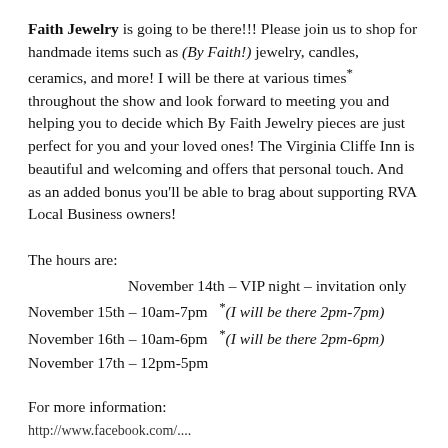Faith Jewelry is going to be there!!! Please join us to shop for handmade items such as (By Faith!) jewelry, candles, ceramics, and more! I will be there at various times* throughout the show and look forward to meeting you and helping you to decide which By Faith Jewelry pieces are just perfect for you and your loved ones! The Virginia Cliffe Inn is beautiful and welcoming and offers that personal touch. And as an added bonus you'll be able to brag about supporting RVA Local Business owners!
The hours are:
            November 14th – VIP night – invitation only
November 15th – 10am-7pm   *(I will be there 2pm-7pm)
November 16th – 10am-6pm   *(I will be there 2pm-6pm)
November 17th – 12pm-5pm
For more information:
http://www.facebook.com/...